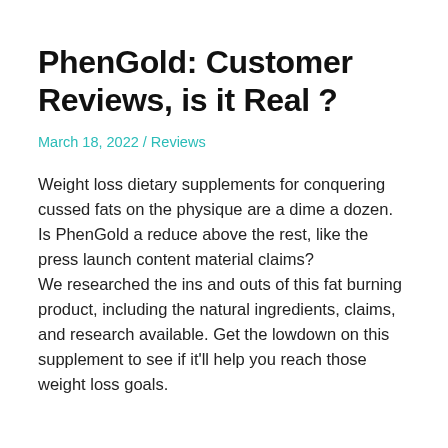PhenGold: Customer Reviews, is it Real ?
March 18, 2022 / Reviews
Weight loss dietary supplements for conquering cussed fats on the physique are a dime a dozen. Is PhenGold a reduce above the rest, like the press launch content material claims?
We researched the ins and outs of this fat burning product, including the natural ingredients, claims, and research available. Get the lowdown on this supplement to see if it'll help you reach those weight loss goals.